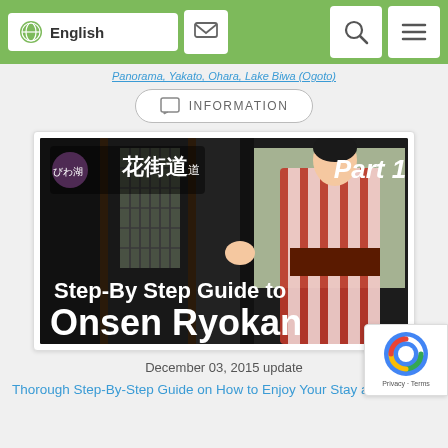English (navigation bar with language, mail, search, menu buttons)
Panorama, Yakato, Ohara, Lake Biwa (Ogoto)
INFORMATION
[Figure (photo): Thumbnail image showing a woman in a red and white striped kimono standing in a traditional Japanese inn corridor, with text overlay reading 'Part 1' and 'Step-By Step Guide to Onsen Ryokan', and a logo in the top left corner]
December 03, 2015 update
Thorough Step-By-Step Guide on How to Enjoy Your Stay at